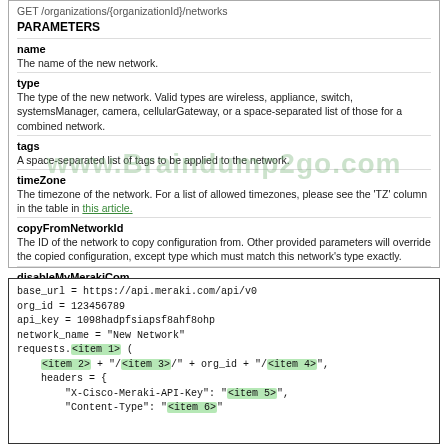GET /organizations/{organizationId}/networks
PARAMETERS
name
The name of the new network.
type
The type of the new network. Valid types are wireless, appliance, switch, systemsManager, camera, cellularGateway, or a space-separated list of those for a combined network.
tags
A space-separated list of tags to be applied to the network.
timeZone
The timezone of the network. For a list of allowed timezones, please see the 'TZ' column in the table in this article.
copyFromNetworkId
The ID of the network to copy configuration from. Other provided parameters will override the copied configuration, except type which must match this network's type exactly.
disableMyMerakiCom
Disables the local device status pages (my.meraki.com, ap.meraki.com, switch.meraki.com, wired.meraki.com). Optional (defaults to false).
disableRemoteStatusPage
Disables access to the device status page (http://[device's LAN IP]). Optional. Can only be set if disableMyMerakiCom is set to false.
base_url = https://api.meraki.com/api/v0
org_id = 123456789
api_key = 1098hadpfsiapsf8ahf8ohp
network_name = "New Network"
requests.<item 1> (
    <item 2> + "/<item 3>/" + org_id + "/<item 4>",
    headers = {
        "X-Cisco-Meraki-API-Key": "<item 5>",
        "Content-Type": "<item 6>"